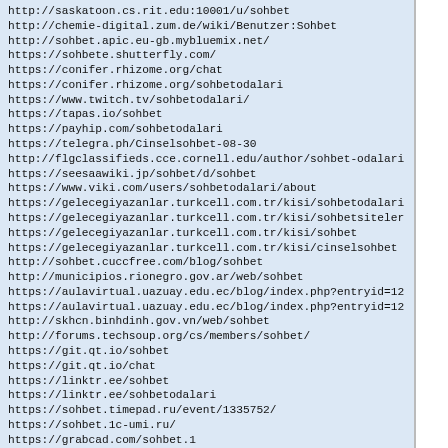http://saskatoon.cs.rit.edu:10001/u/sohbet
&#8203;http://chemie-digital.zum.de/wiki/Benutzer:Sohbet
&#8203;http://sohbet.apic.eu-gb.mybluemix.net/
&#8203;https://sohbete.shutterfly.com/
&#8203;https://conifer.rhizome.org/chat
&#8203;https://conifer.rhizome.org/sohbetodalari
https://www.twitch.tv/sohbetodalari/
https://tapas.io/sohbet
https://payhip.com/sohbetodalari
https://telegra.ph/Cinselsohbet-08-30
http://flgclassifieds.cce.cornell.edu/author/sohbet-odalari
&#8203;https://seesaawiki.jp/sohbet/d/sohbet
&#8203;https://www.viki.com/users/sohbetodalari/about
https://gelecegiyazanlar.turkcell.com.tr/kisi/sohbetodalari
https://gelecegiyazanlar.turkcell.com.tr/kisi/sohbetsiteler
https://gelecegiyazanlar.turkcell.com.tr/kisi/sohbet
https://gelecegiyazanlar.turkcell.com.tr/kisi/cinselsohbet
http://sohbet.cuccfree.com/blog/sohbet
http://municipios.rionegro.gov.ar/web/sohbet
https://aulavirtual.uazuay.edu.ec/blog/index.php?entryid=12
https://aulavirtual.uazuay.edu.ec/blog/index.php?entryid=12
http://skhcn.binhdinh.gov.vn/web/sohbet
http://forums.techsoup.org/cs/members/sohbet/
https://git.qt.io/sohbet
https://git.qt.io/chat
https://linktr.ee/sohbet
https://linktr.ee/sohbetodalari
https://sohbet.timepad.ru/event/1335752/
https://sohbet.1c-umi.ru/
https://grabcad.com/sohbet.1